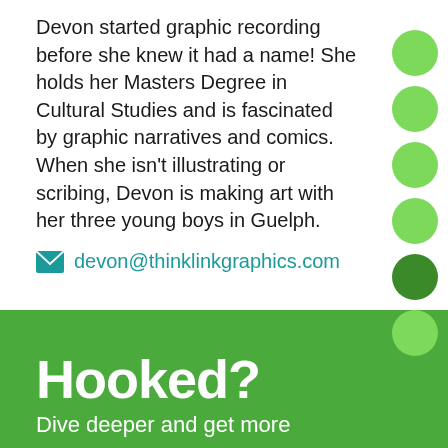Devon started graphic recording before she knew it had a name! She holds her Masters Degree in Cultural Studies and is fascinated by graphic narratives and comics. When she isn't illustrating or scribing, Devon is making art with her three young boys in Guelph.
devon@thinklinkgraphics.com
[Figure (illustration): Seven green circles arranged vertically on the right side of the page, one darker green circle among them]
Hooked?
Dive deeper and get more